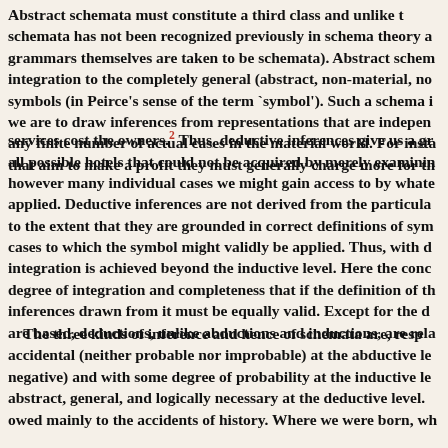Abstract schemata must constitute a third class and unlike the schemata has not been recognized previously in schema theory and grammars themselves are taken to be schemata). Abstract schem integration to the completely general (abstract, non-material, no symbols (in Peirce's sense of the term `symbol'). Such a schema i we are to draw inferences from representations that are indepen any finite number of actual cases in the material world. For insta that aim to make a profit they must generally charge more for th
services cost the owners.2 Thus, deductive inferences give us a gr all possible hotels that could not be acquired by merely examinin however many individual cases we might gain access to by whate applied. Deductive inferences are not derived from the particula to the extent that they are grounded in correct definitions of sym cases to which the symbol might validly be applied. Thus, with d integration is achieved beyond the inductive level. Here the conc degree of integration and completeness that if the definition of th inferences drawn from it must be equally valid. Except for the d are based, deductions, unlike abductions and inductions, are rel
The three kinds of inference and hence of schemata are, resp accidental (neither probable nor improbable) at the abductive le negative) and with some degree of probability at the inductive le abstract, general, and logically necessary at the deductive level. owed mainly to the accidents of history. Where we were born, wh